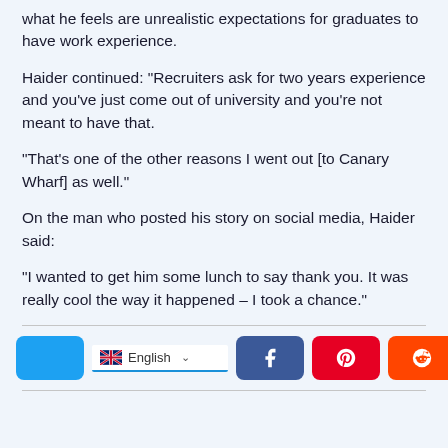what he feels are unrealistic expectations for graduates to have work experience.
Haider continued: "Recruiters ask for two years experience and you've just come out of university and you're not meant to have that.
"That's one of the other reasons I went out [to Canary Wharf] as well."
On the man who posted his story on social media, Haider said:
"I wanted to get him some lunch to say thank you. It was really cool the way it happened – I took a chance."
[Figure (screenshot): Social sharing bar with language selector (English with UK flag), Facebook, Pinterest, Reddit, and WhatsApp share buttons]